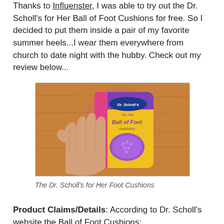Thanks to Influenster, I was able to try out the Dr. Scholl's for Her Ball of Foot Cushions for free. So I decided to put them inside a pair of my favorite summer heels...I wear them everywhere from church to date night with the hubby. Check out my review below...
[Figure (photo): A hand holding a Dr. Scholl's for Her Ball of Foot Cushions package against a wooden table background. The package is purple and yellow with a purple gel cushion visible.]
The Dr. Scholl's for Her Foot Cushions
Product Claims/Details: According to Dr. Scholl's website the Ball of Foot Cushions: